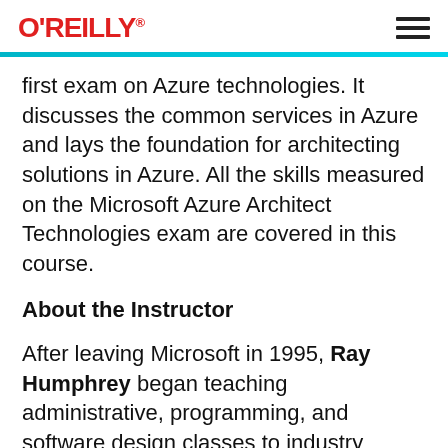O'REILLY
first exam on Azure technologies. It discusses the common services in Azure and lays the foundation for architecting solutions in Azure. All the skills measured on the Microsoft Azure Architect Technologies exam are covered in this course.
About the Instructor
After leaving Microsoft in 1995, Ray Humphrey began teaching administrative, programming, and software design classes to industry professionals and has done that